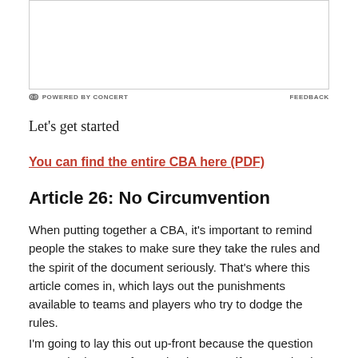[Figure (other): Advertisement box with white background and gray border]
⊂ POWERED BY CONCERT   FEEDBACK
Let's get started
You can find the entire CBA here (PDF)
Article 26: No Circumvention
When putting together a CBA, it's important to remind people the stakes to make sure they take the rules and the spirit of the document seriously. That's where this article comes in, which lays out the punishments available to teams and players who try to dodge the rules.
I'm going to lay this out up-front because the question gets asked pretty often "what happens if a team simply